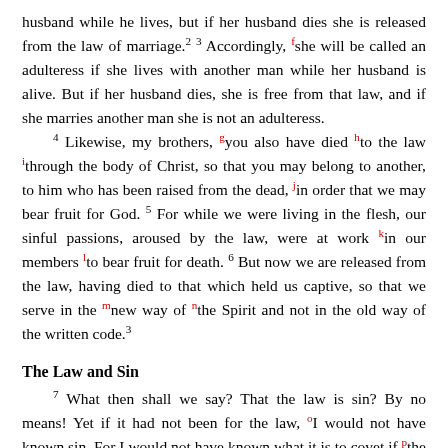husband while he lives, but if her husband dies she is released from the law of marriage.2 3 Accordingly, fshe will be called an adulteress if she lives with another man while her husband is alive. But if her husband dies, she is free from that law, and if she marries another man she is not an adulteress.
4 Likewise, my brothers, gyou also have died hto the law ithrough the body of Christ, so that you may belong to another, to him who has been raised from the dead, jin order that we may bear fruit for God. 5 For while we were living in the flesh, our sinful passions, aroused by the law, were at work kin our members lto bear fruit for death. 6 But now we are released from the law, having died to that which held us captive, so that we serve in the mnew way of nthe Spirit and not in the old way of the written code.3
The Law and Sin
7 What then shall we say? That the law is sin? By no means! Yet if it had not been for the law, oI would not have known sin. For I would not have known what it is to covet if pthe law had